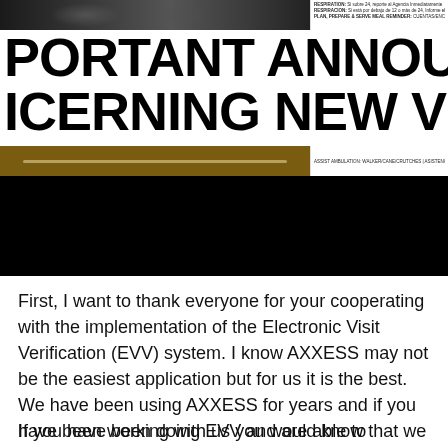[Figure (photo): Top banner showing two people in dark shirts with medical document text visible on the right side]
PORTANT ANNOUNCEMENT CONCERNING NEW VISIT N
[Figure (photo): Middle section showing a dark brownish banner strip and a black image area below]
First, I want to thank everyone for your cooperating with the implementation of the Electronic Visit Verification (EVV) system. I know AXXESS may not be the easiest application but for us it is the best. We have been using AXXESS for years and if you have been working with us you would know that we have been using AXXESS for a long time.
If you have been doing EVV and are able to complete and sign your visit note on the app, please do not